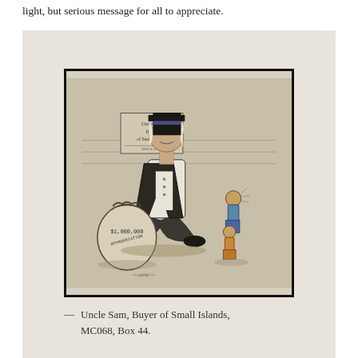light, but serious message for all to appreciate.
[Figure (illustration): A historical political cartoon drawing showing Uncle Sam as a tall figure carrying a large money bag labeled with dollar amounts, with smaller figures nearby. A sign on the wall reads 'Uncle Sam Buyer of Small Islands'. The illustration is rendered in pencil/charcoal sketch style.]
— Uncle Sam, Buyer of Small Islands, MC068, Box 44.